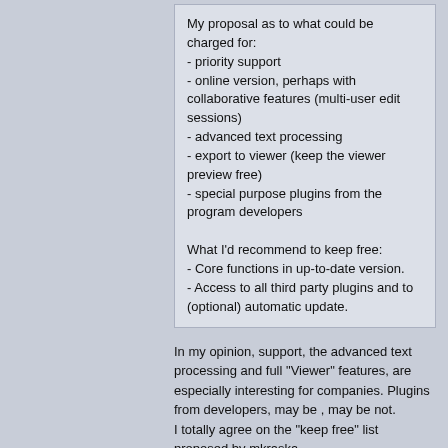My proposal as to what could be charged for:
- priority support
- online version, perhaps with collaborative features (multi-user edit sessions)
- advanced text processing
- export to viewer (keep the viewer preview free)
- special purpose plugins from the program developers

What I'd recommend to keep free:
- Core functions in up-to-date version.
- Access to all third party plugins and to (optional) automatic update.
In my opinion, support, the advanced text processing and full "Viewer" features, are especially interesting for companies. Plugins from developers, may be , may be not.
I totally agree on the "keep free" list proposed by mkraska
Edited by user 6 months ago  | Reason: Not specified
#10 Posted : 6 months ago
Andrey Ivashov